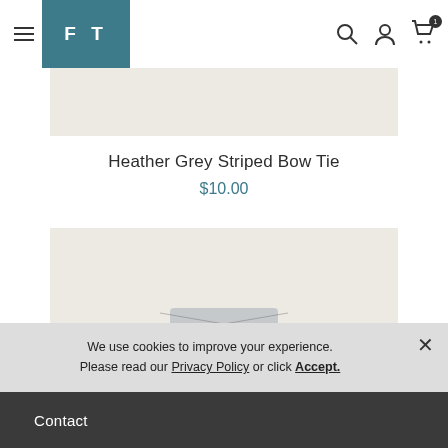FT logo and navigation bar with hamburger menu, logo, search, user, and cart icons
[Figure (photo): Product image placeholder - top portion of Heather Grey Striped Bow Tie]
Heather Grey Striped Bow Tie
$10.00
[Figure (photo): Product image placeholder - second view of Heather Grey Striped Bow Tie]
We use cookies to improve your experience. Please read our Privacy Policy or click Accept.
Contact